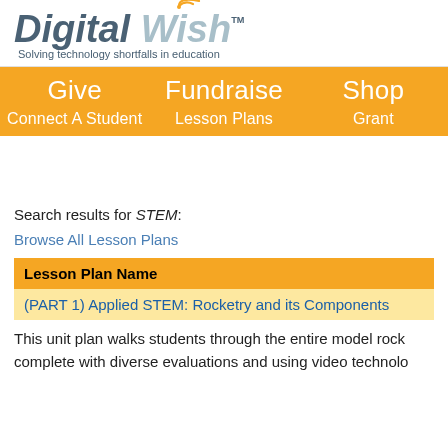[Figure (logo): Digital Wish logo with wifi signal icon above the 'i' in Wish and tagline 'Solving technology shortfalls in education']
Give   Fundraise   Shop   Connect A Student   Lesson Plans   Grant
Search results for STEM:
Browse All Lesson Plans
| Lesson Plan Name |
| --- |
| (PART 1) Applied STEM: Rocketry and its Components |
This unit plan walks students through the entire model rock complete with diverse evaluations and using video technolo